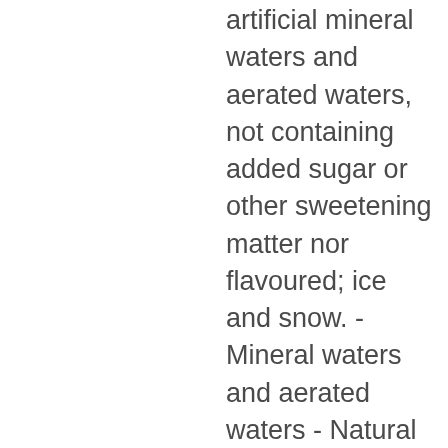artificial mineral waters and aerated waters, not containing added sugar or other sweetening matter nor flavoured; ice and snow. - Mineral waters and aerated waters - Natural mineral waters